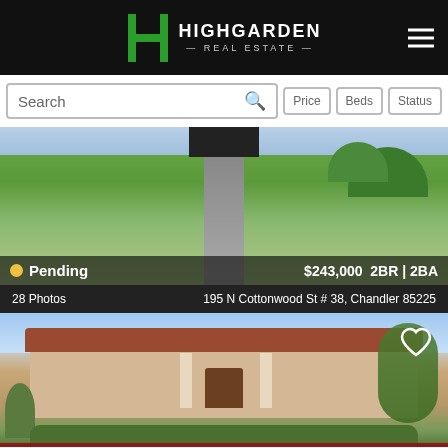HIGHGARDEN REAL ESTATE
Search | Price | Beds | Status
[Figure (photo): Front exterior photo of a property with green lawn, walkway, and shrubs. Shows Pending status badge with $243,000 price and 2BR | 2BA.]
Pending  $243,000  2BR | 2BA
28 Photos   195 N Cottonwood St # 38, Chandler 85225
[Figure (photo): Front exterior photo of a southwestern-style home with red tile roof, stucco walls, columns, and desert landscaping. Heart/favorite icon visible in top right.]
Call to Schedule a Showing  (480) 613-9411